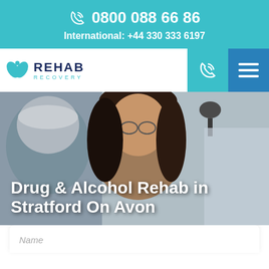0800 088 66 86
International: +44 330 333 6197
[Figure (logo): Rehab Recovery logo with teal leaf/wing icon and text REHAB RECOVERY]
Drug & Alcohol Rehab in Stratford On Avon
[Figure (photo): Two people embracing, an older person with grey hair and a younger woman with dark hair, indoors]
Name